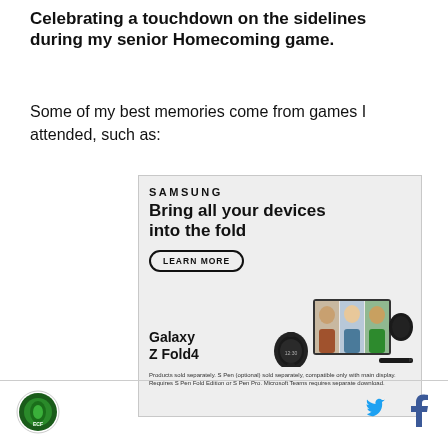Celebrating a touchdown on the sidelines during my senior Homecoming game.
Some of my best memories come from games I attended, such as:
[Figure (infographic): Samsung advertisement for Galaxy Z Fold4. Shows Samsung logo, headline 'Bring all your devices into the fold', a 'LEARN MORE' button, Galaxy Z Fold4 text, and images of a Samsung smartwatch, folded phone with video call on screen, earbuds, and stylus pen. Fine print reads: 'Products sold separately. S Pen (optional) sold separately, compatible only with main display. Requires S Pen Fold Edition or S Pen Pro. Microsoft Teams requires separate download.']
[Figure (logo): Circular logo with green and blue design, bottom left of page footer]
[Figure (other): Twitter bird icon in blue and Facebook 'f' icon in dark blue, bottom right footer social media icons]